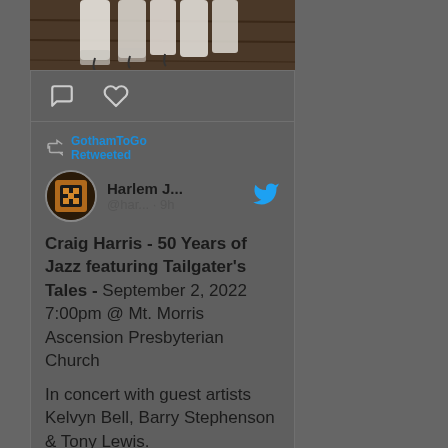[Figure (photo): Photo of white fabric/clothing items on a dark wooden floor, partially visible at top of card]
[Figure (screenshot): Twitter/social media screenshot showing a retweet by GothamToGo of a Harlem Jazz post about Craig Harris - 50 Years of Jazz featuring Tailgater's Tales, September 2, 2022 7:00pm @ Mt. Morris Ascension Presbyterian Church, in concert with guest artists Kelvyn Bell, Barry Stephenson & Tony Lewis, with a link to harlemiazzboxx.com/2]